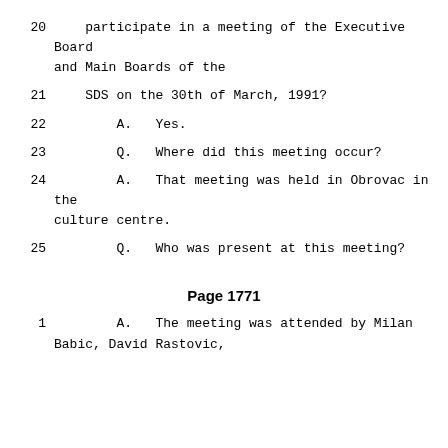20    participate in a meeting of the Executive Board and Main Boards of the
21    SDS on the 30th of March, 1991?
22        A.   Yes.
23        Q.   Where did this meeting occur?
24        A.   That meeting was held in Obrovac in the culture centre.
25        Q.   Who was present at this meeting?
Page 1771
1         A.   The meeting was attended by Milan Babic, David Rastovic,